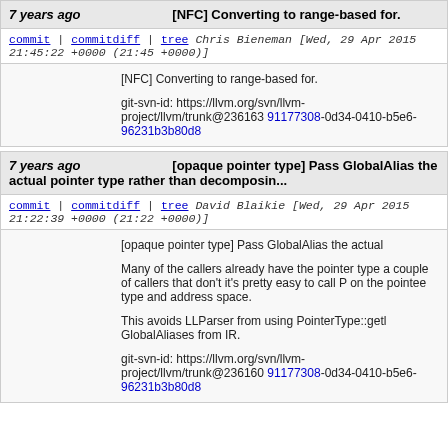7 years ago   [NFC] Converting to range-based for.
commit | commitdiff | tree   Chris Bieneman [Wed, 29 Apr 2015 21:45:22 +0000 (21:45 +0000)]
[NFC] Converting to range-based for.

git-svn-id: https://llvm.org/svn/llvm-project/llvm/trunk@236163 91177308-0d34-0410-b5e6-96231b3b80d8
7 years ago   [opaque pointer type] Pass GlobalAlias the actual pointer type rather than decomposin...
commit | commitdiff | tree   David Blaikie [Wed, 29 Apr 2015 21:22:39 +0000 (21:22 +0000)]
[opaque pointer type] Pass GlobalAlias the actual pointer type rather than decomposin...

Many of the callers already have the pointer type a couple of callers that don't it's pretty easy to call P on the pointee type and address space.

This avoids LLParser from using PointerType::getl GlobalAliases from IR.

git-svn-id: https://llvm.org/svn/llvm-project/llvm/trunk@236160 91177308-0d34-0410-b5e6-96231b3b80d8